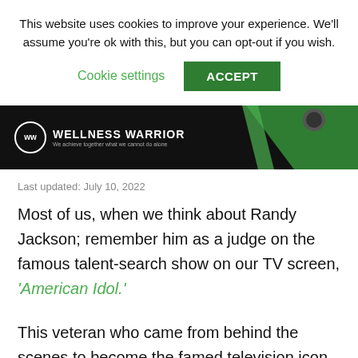This website uses cookies to improve your experience. We'll assume you're ok with this, but you can opt-out if you wish.
Cookie settings   ACCEPT
[Figure (logo): Wellness Warrior website header banner with black background, green diagonal stripe accent on the right, and the WW logo with text 'WELLNESS WARRIOR' and tagline 'We achieve together what we cannot do alone']
Last updated: July 10, 2022
Most of us, when we think about Randy Jackson; remember him as a judge on the famous talent-search show on our TV screen, 'American Idol.'
This veteran who came from behind the scenes to become the famed television icon on the show also